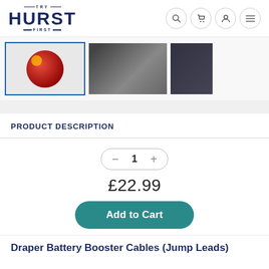[Figure (logo): Try Hurst First logo — bold navy blue text reading HURST with decorative lines and small TRY above and FIRST below]
[Figure (screenshot): Navigation icons: search, cart, user, hamburger menu — circular bordered icons]
[Figure (photo): Three product thumbnail images: first selected (blue border) showing a red circular object, second showing cables/leads, third showing dark product packaging]
PRODUCT DESCRIPTION
[Figure (other): Quantity selector showing minus button, 1, plus button in a pill-shaped border]
£22.99
Add to Cart
Draper Battery Booster Cables (Jump Leads)